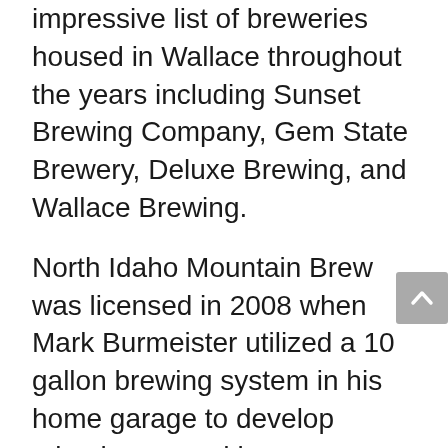impressive list of breweries housed in Wallace throughout the years including Sunset Brewing Company, Gem State Brewery, Deluxe Brewing, and Wallace Brewing.
North Idaho Mountain Brew was licensed in 2008 when Mark Burmeister utilized a 10 gallon brewing system in his home garage to develop microbrews and began distribution to local establishments like the Red Light Garage, Lookout Pass Ski Area, and Silver Mountain Resort.